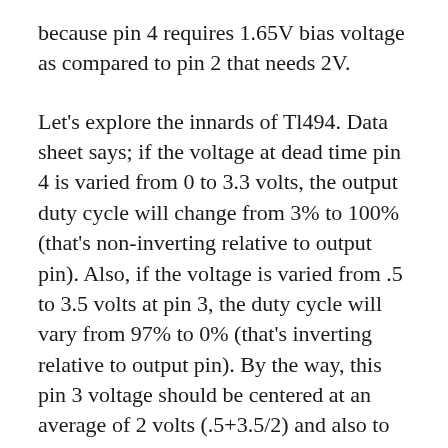because pin 4 requires 1.65V bias voltage as compared to pin 2 that needs 2V.
Let's explore the innards of Tl494. Data sheet says; if the voltage at dead time pin 4 is varied from 0 to 3.3 volts, the output duty cycle will change from 3% to 100% (that's non-inverting relative to output pin). Also, if the voltage is varied from .5 to 3.5 volts at pin 3, the duty cycle will vary from 97% to 0% (that's inverting relative to output pin). By the way, this pin 3 voltage should be centered at an average of 2 volts (.5+3.5/2) and also to pin 4 (0+3.3/2= 1.65V) to get 50% duty cycle from the output. Also take note that the author of the PDF did not mention if the output